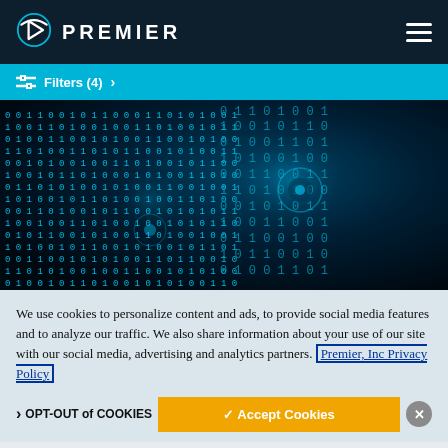PREMIER
Filters (4) >
[Figure (photo): Digital binary data visualization — glowing blue 0s and 1s on a dark background forming a curved wall of data]
We use cookies to personalize content and ads, to provide social media features and to analyze our traffic. We also share information about your use of our site with our social media, advertising and analytics partners. Premier, Inc Privacy Policy
OPT-OUT of COOKIES
✓ Accept Cookies